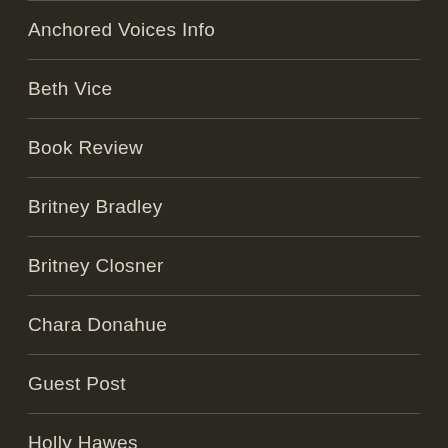Anchored Voices Info
Beth Vice
Book Review
Britney Bradley
Britney Closner
Chara Donahue
Guest Post
Holly Hawes
Jacqi Kambish
Kara Williams
Karly Grant